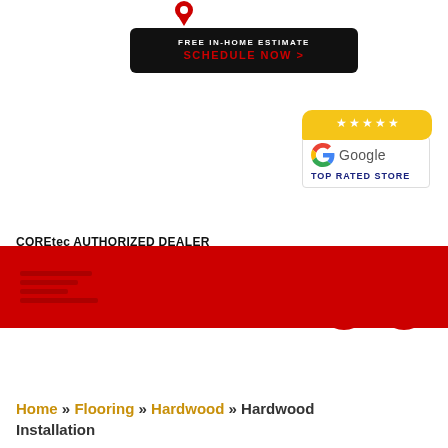[Figure (illustration): Red map pin / location marker icon at the top of the page]
[Figure (infographic): Dark CTA button with text 'FREE IN-HOME ESTIMATE' and 'SCHEDULE NOW >' in red]
[Figure (logo): Google Top Rated Store badge with yellow stars speech bubble and Google logo]
COREtec AUTHORIZED DEALER
KARASTAN AUTHORIZED DEALER
[Figure (logo): Facebook and Instagram social media icons (red circles)]
[Figure (other): Red footer bar with stacked menu lines]
Home » Flooring » Hardwood » Hardwood Installation